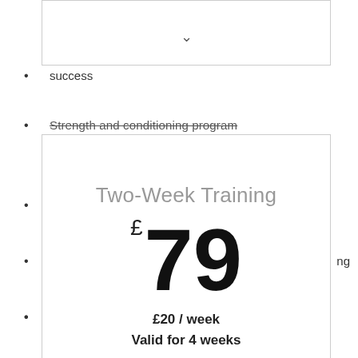[Figure (screenshot): Partially visible top card with chevron/arrow down icon]
success
Strength and conditioning program
Two-Week Training
£79
£20 / week
Valid for 4 weeks
Purchase this plan
Race specific training program to get you ready for your big day